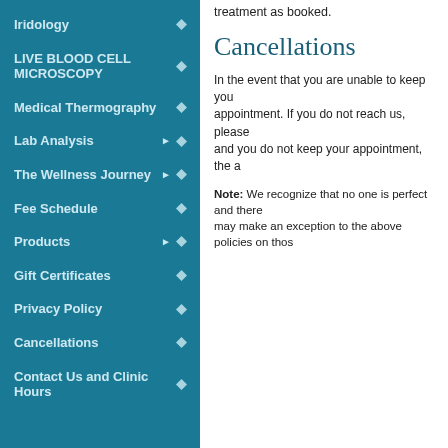Iridology
LIVE BLOOD CELL MICROSCOPY
Medical Thermography
Lab Analysis
The Wellness Journey
Fee Schedule
Products
Gift Certificates
Privacy Policy
Cancellations
Contact Us and Clinic Hours
treatment as booked.
Cancellations
In the event that you are unable to keep your appointment. If you do not reach us, please and you do not keep your appointment, the a
Note: We recognize that no one is perfect and there may make an exception to the above policies on thos